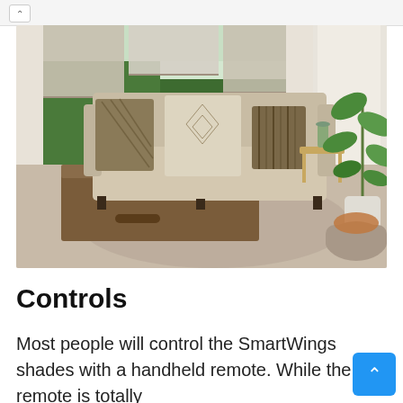[Figure (photo): Interior living room scene with roller shades/blinds on windows, a beige sofa with patterned pillows, a wooden coffee table, a tall green plant, and a gray ottoman. The room has a neutral, modern aesthetic.]
Controls
Most people will control the SmartWings shades with a handheld remote. While the remote is totally